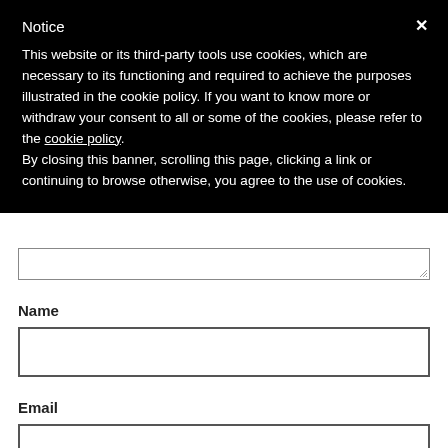Notice
This website or its third-party tools use cookies, which are necessary to its functioning and required to achieve the purposes illustrated in the cookie policy. If you want to know more or withdraw your consent to all or some of the cookies, please refer to the cookie policy.
By closing this banner, scrolling this page, clicking a link or continuing to browse otherwise, you agree to the use of cookies.
Name
Email